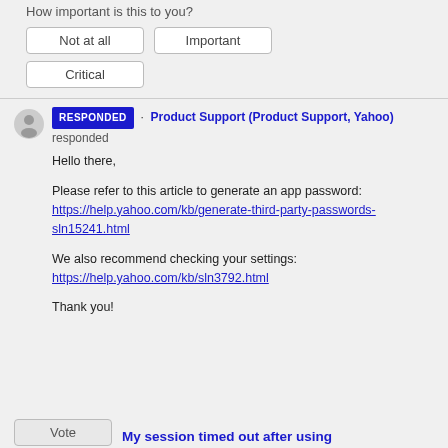How important is this to you?
Not at all
Important
Critical
RESPONDED · Product Support (Product Support, Yahoo) responded
Hello there,

Please refer to this article to generate an app password: https://help.yahoo.com/kb/generate-third-party-passwords-sln15241.html

We also recommend checking your settings: https://help.yahoo.com/kb/sln3792.html

Thank you!
My session timed out after using